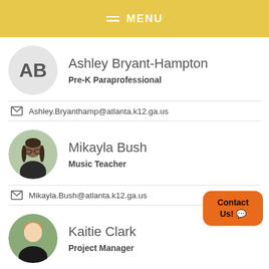MENU
Ashley Bryant-Hampton
Pre-K Paraprofessional
Ashley.Bryanthamp@atlanta.k12.ga.us
Mikayla Bush
Music Teacher
Mikayla.Bush@atlanta.k12.ga.us
Kaitie Clark
Project Manager
Contact Us!